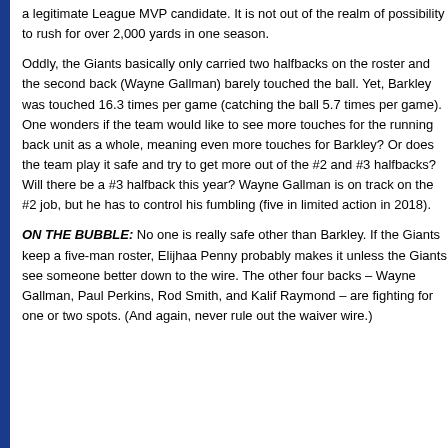a legitimate League MVP candidate. It is not out of the realm of possibility to rush for over 2,000 yards in one season.
Oddly, the Giants basically only carried two halfbacks on the roster last year, and the second back (Wayne Gallman) barely touched the ball. Yet, Barkley was touched 16.3 times per game (catching the ball 5.7 times per game). One wonders if the team would like to see more touches for the running back unit as a whole, meaning even more touches for Barkley? Or does the team play it safe and try to get more out of the #2 and #3 halfbacks? Will there be a #3 halfback this year? Wayne Gallman is on track on the #2 job, but he has to control his fumbling (five in limited action in 2018).
ON THE BUBBLE: No one is really safe other than Barkley. If the Giants keep a five-man roster, Elijhaa Penny probably makes it unless the Giants see someone better down to the wire. The other four backs – Wayne Gallman, Paul Perkins, Rod Smith, and Kalif Raymond – are fighting for one or two spots. (And again, never rule out the waiver wire.)